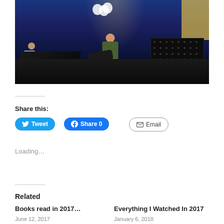[Figure (photo): Concert photo showing a performer in a green dress playing guitar on stage with blue lighting, balloons, and band members on the left. Large speaker cabinets visible on stage.]
Share this:
Tweet
Share 0
Email
Loading...
Related
Books read in 2017…
June 12, 2017
Everything I Watched In 2017
January 6, 2018